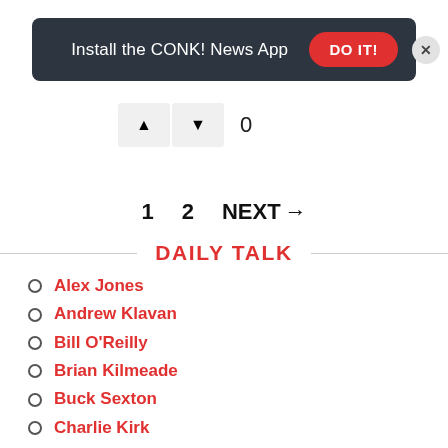[Figure (screenshot): Dark banner with text 'Install the CONK! News App', a red 'DO IT!' button, and a close X button]
[Figure (infographic): Vote up/down buttons with count 0]
1   2   NEXT →
DAILY TALK
Alex Jones
Andrew Klavan
Bill O'Reilly
Brian Kilmeade
Buck Sexton
Charlie Kirk
Clay Travis and Buck Sexton
Dan Bongino
Dana Loesch